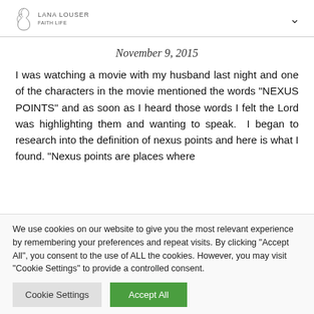LANA LOUSER
November 9, 2015
I was watching a movie with my husband last night and one of the characters in the movie mentioned the words "NEXUS POINTS" and as soon as I heard those words I felt the Lord was highlighting them and wanting to speak. I began to research into the definition of nexus points and here is what I found. "Nexus points are places where
We use cookies on our website to give you the most relevant experience by remembering your preferences and repeat visits. By clicking "Accept All", you consent to the use of ALL the cookies. However, you may visit "Cookie Settings" to provide a controlled consent.